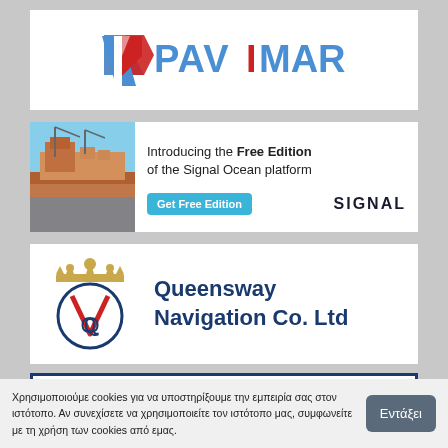[Figure (logo): Pavimar company logo with blue/red chevron and PAVIMAR text]
[Figure (infographic): Signal Ocean platform ad: ship photo on left, text 'Introducing the Free Edition of the Signal Ocean platform', Get Free Edition button, SIGNAL brand name]
[Figure (logo): Queensway Navigation Co. Ltd logo with crown and VQ emblem]
[Figure (other): Partial white box with dark blue border, content cut off]
Χρησιμοποιούμε cookies για να υποστηρίξουμε την εμπειρία σας στον ιστότοπο. Αν συνεχίσετε να χρησιμοποιείτε τον ιστότοπο μας, συμφωνείτε με τη χρήση των cookies από εμας.